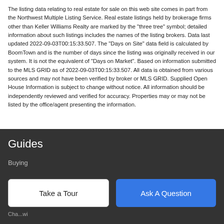The listing data relating to real estate for sale on this web site comes in part from the Northwest Multiple Listing Service. Real estate listings held by brokerage firms other than Keller Williams Realty are marked by the "three tree" symbol; detailed information about such listings includes the names of the listing brokers. Data last updated 2022-09-03T00:15:33.507. The "Days on Site" data field is calculated by BoomTown and is the number of days since the listing was originally received in our system. It is not the equivalent of "Days on Market". Based on information submitted to the MLS GRID as of 2022-09-03T00:15:33.507. All data is obtained from various sources and may not have been verified by broker or MLS GRID. Supplied Open House Information is subject to change without notice. All information should be independently reviewed and verified for accuracy. Properties may or may not be listed by the office/agent presenting the information.
Guides
Buying